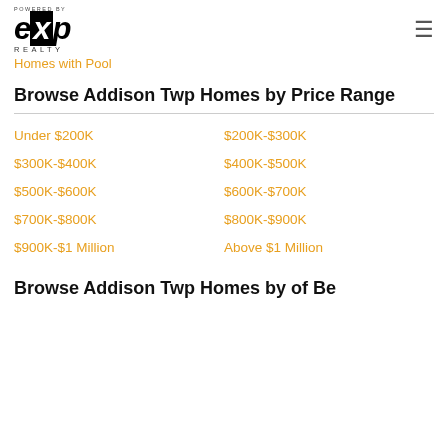eXp Realty
Homes with Pool
Browse Addison Twp Homes by Price Range
Under $200K
$200K-$300K
$300K-$400K
$400K-$500K
$500K-$600K
$600K-$700K
$700K-$800K
$800K-$900K
$900K-$1 Million
Above $1 Million
Browse Addison Twp Homes by of Be...